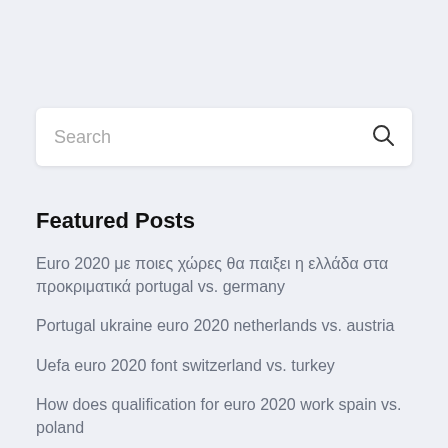[Figure (screenshot): Search bar input field with placeholder text 'Search' and a magnifying glass icon on the right]
Featured Posts
Euro 2020 με ποιες χώρες θα παιξει η ελλάδα στα προκριματικά portugal vs. germany
Portugal ukraine euro 2020 netherlands vs. austria
Uefa euro 2020 font switzerland vs. turkey
How does qualification for euro 2020 work spain vs. poland